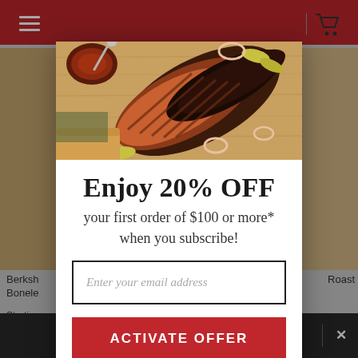[Figure (screenshot): Website screenshot background showing red header, product cards with meat products, hamburger menu icon, cart icon, and dark bottom bar]
[Figure (photo): Food photo showing sliced BBQ brisket on a cutting board with sauce, pickled peppers, and onion rings]
Enjoy 20% OFF
your first order of $100 or more* when you subscribe!
Enter your email address
ACTIVATE OFFER